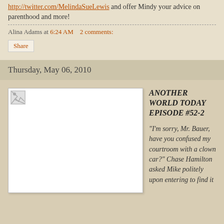http://twitter.com/MelindaSueLewis and offer Mindy your advice on parenthood and more!
Alina Adams at 6:24 AM   2 comments:
Share
Thursday, May 06, 2010
[Figure (photo): Broken/missing image placeholder (white rectangle with broken image icon)]
ANOTHER WORLD TODAY EPISODE #52-2
"I'm sorry, Mr. Bauer, have you confused my courtroom with a clown car?" Chase Hamilton asked Mike politely upon entering to find it